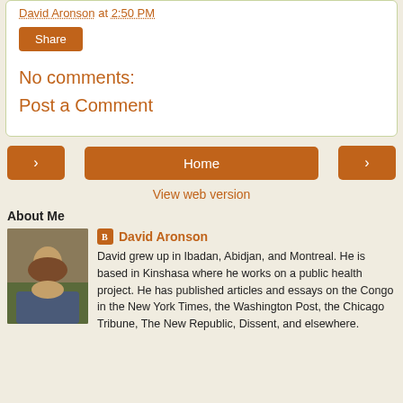David Aronson at 2:50 PM
Share
No comments:
Post a Comment
< Home > View web version
About Me
David Aronson
David grew up in Ibadan, Abidjan, and Montreal. He is based in Kinshasa where he works on a public health project. He has published articles and essays on the Congo in the New York Times, the Washington Post, the Chicago Tribune, The New Republic, Dissent, and elsewhere.